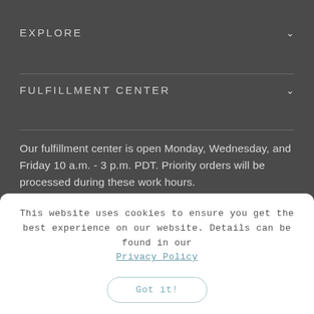EXPLORE
FULFILLMENT CENTER
Our fulfillment center is open Monday, Wednesday, and Friday 10 a.m. - 3 p.m. PDT. Priority orders will be processed during these work hours.
This website uses cookies to ensure you get the best experience on our website. Details can be found in our Privacy Policy
Got it!